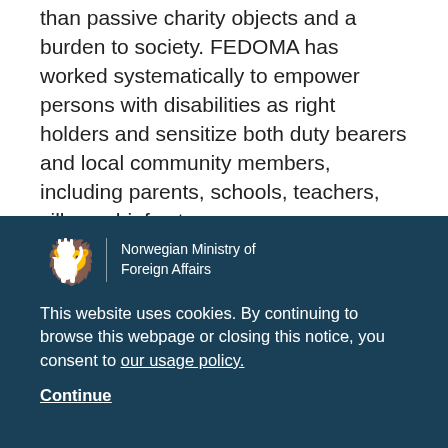than passive charity objects and a burden to society. FEDOMA has worked systematically to empower persons with disabilities as right holders and sensitize both duty bearers and local community members, including parents, schools, teachers, village chiefs etc.

FEDOMA and its eleven DPO members were instrumental to the formulation and enactment of the
[Figure (logo): Norwegian Ministry of Foreign Affairs logo with lion heraldic emblem and organization name in white text on dark teal background]
This website uses cookies. By continuing to browse this webpage or closing this notice, you consent to our usage policy.
Continue